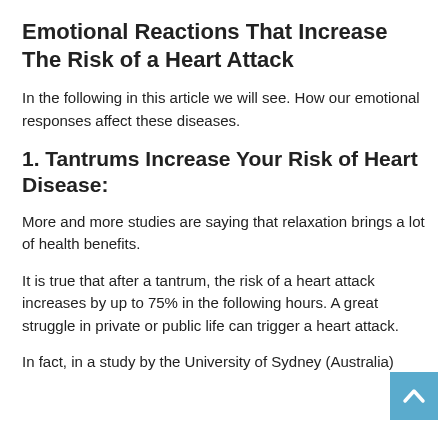Emotional Reactions That Increase The Risk of a Heart Attack
In the following in this article we will see. How our emotional responses affect these diseases.
1. Tantrums Increase Your Risk of Heart Disease:
More and more studies are saying that relaxation brings a lot of health benefits.
It is true that after a tantrum, the risk of a heart attack increases by up to 75% in the following hours. A great struggle in private or public life can trigger a heart attack.
In fact, in a study by the University of Sydney (Australia)